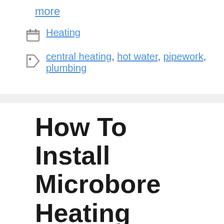more
Heating
central heating, hot water, pipework, plumbing
How To Install Microbore Heating
July 18, 2011 by Daren Willcock
Microbore, as the word implies, is the use of narrow pipes with tube bores ranging from 6mm to 10mm diameter. Microbore is now